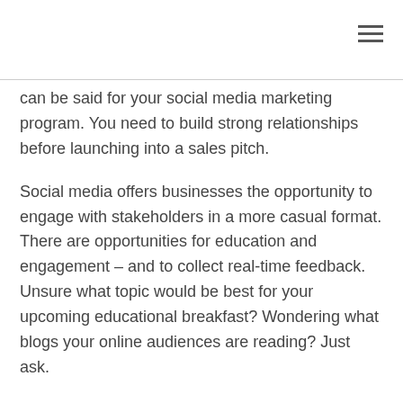can be said for your social media marketing program. You need to build strong relationships before launching into a sales pitch.
Social media offers businesses the opportunity to engage with stakeholders in a more casual format. There are opportunities for education and engagement – and to collect real-time feedback. Unsure what topic would be best for your upcoming educational breakfast? Wondering what blogs your online audiences are reading? Just ask.
While businesses can benefit from showcasing their products and services on social media, it is important to